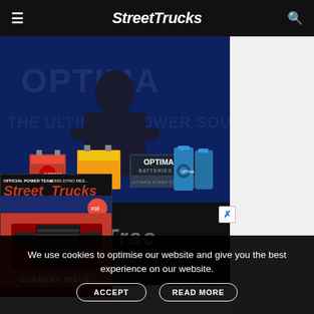StreetTrucks
[Figure (photo): Optima Batteries advertisement: man in black t-shirt with glasses standing behind Optima battery products on blue background with 'OPTIMA BATTERIES – ULTIMATE POWER SOURCE' text]
[Figure (photo): Street Trucks magazine cover overlay showing red classic truck on cover]
[Figure (photo): MaxTrac suspension advertisement banner on dark background]
CURRENT ISSUE
We use cookies to optimise our website and give you the best experience on our website.
ACCEPT
READ MORE